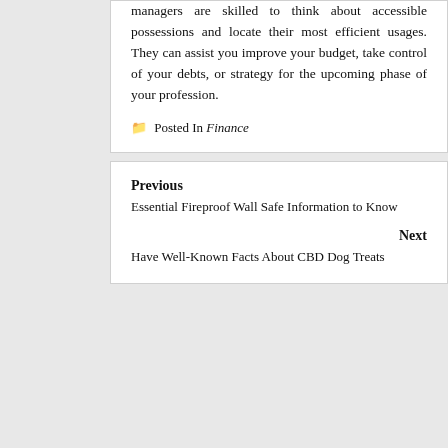managers are skilled to think about accessible possessions and locate their most efficient usages. They can assist you improve your budget, take control of your debts, or strategy for the upcoming phase of your profession.
🗂 Posted In Finance
Previous
Essential Fireproof Wall Safe Information to Know
Next
Have Well-Known Facts About CBD Dog Treats